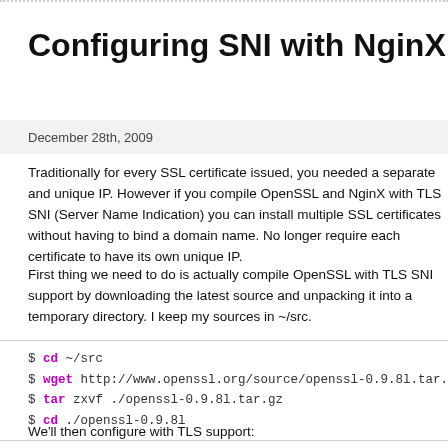Configuring SNI with NginX
December 28th, 2009
Traditionally for every SSL certificate issued, you needed a separate and unique IP. However if you compile OpenSSL and NginX with TLS SNI (Server Name Indication) you can install multiple SSL certificates without having to bind a domain name. No longer require each certificate to have its own unique IP.
First thing we need to do is actually compile OpenSSL with TLS SNI support by downloading the latest source and unpacking it into a temporary directory. I keep my sources in ~/src.
$ cd ~/src
$ wget http://www.openssl.org/source/openssl-0.9.8l.tar.gz
$ tar zxvf ./openssl-0.9.8l.tar.gz
$ cd ./openssl-0.9.8l
We'll then configure with TLS support: